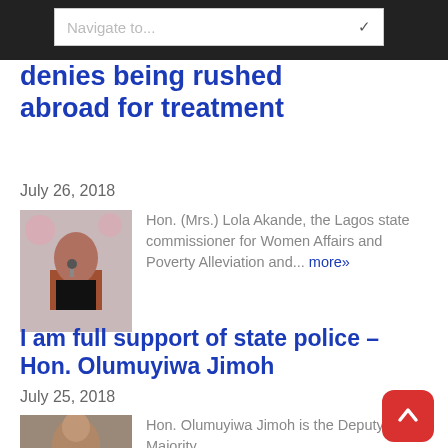denies being rushed abroad for treatment
July 26, 2018
Hon. (Mrs.) Lola Akande, the Lagos state commissioner for Women Affairs and Poverty Alleviation and... more»
I am full support of state police – Hon. Olumuyiwa Jimoh
July 25, 2018
Hon. Olumuyiwa Jimoh is the Deputy Majority...